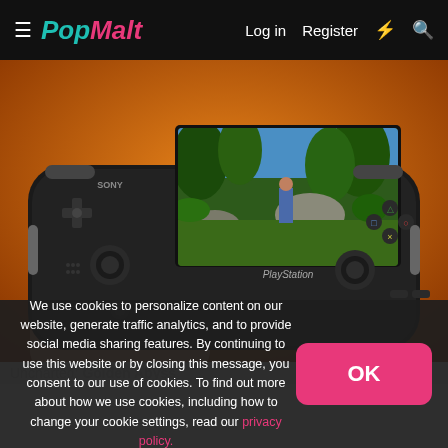PopMalt — Log in  Register
[Figure (photo): Sony PlayStation Vita handheld game console being held, showing a jungle game scene (Uncharted) on its screen, against an orange background]
Uncharted: Golden Abyss (partially obscured)
We use cookies to personalize content on our website, generate traffic analytics, and to provide social media sharing features. By continuing to use this website or by closing this message, you consent to our use of cookies. To find out more about how we use cookies, including how to change your cookie settings, read our privacy policy.